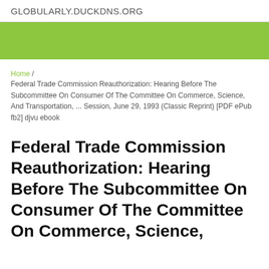GLOBULARLY.DUCKDNS.ORG
[Figure (other): Green decorative banner bar]
Home / Federal Trade Commission Reauthorization: Hearing Before The Subcommittee On Consumer Of The Committee On Commerce, Science, And Transportation, ... Session, June 29, 1993 (Classic Reprint) [PDF ePub fb2] djvu ebook
Federal Trade Commission Reauthorization: Hearing Before The Subcommittee On Consumer Of The Committee On Commerce, Science,